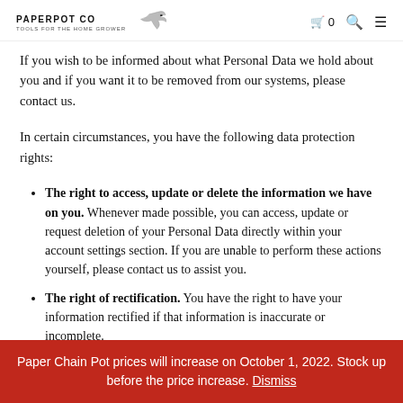PAPERPOT CO — Tools for the home grower
If you wish to be informed about what Personal Data we hold about you and if you want it to be removed from our systems, please contact us.
In certain circumstances, you have the following data protection rights:
The right to access, update or delete the information we have on you. Whenever made possible, you can access, update or request deletion of your Personal Data directly within your account settings section. If you are unable to perform these actions yourself, please contact us to assist you.
The right of rectification. You have the right to have your information rectified if that information is inaccurate or incomplete.
Paper Chain Pot prices will increase on October 1, 2022. Stock up before the price increase. Dismiss